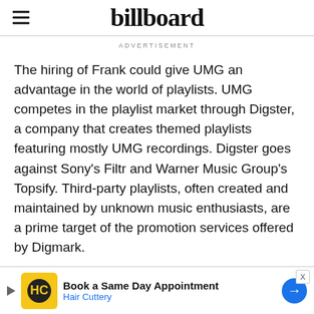billboard
ADVERTISEMENT
The hiring of Frank could give UMG an advantage in the world of playlists. UMG competes in the playlist market through Digster, a company that creates themed playlists featuring mostly UMG recordings. Digster goes against Sony's Filtr and Warner Music Group's Topsify. Third-party playlists, often created and maintained by unknown music enthusiasts, are a prime target of the promotion services offered by Digmark.
Trending on Billboard
[Figure (other): Bottom advertisement banner for Hair Cuttery: Book a Same Day Appointment]